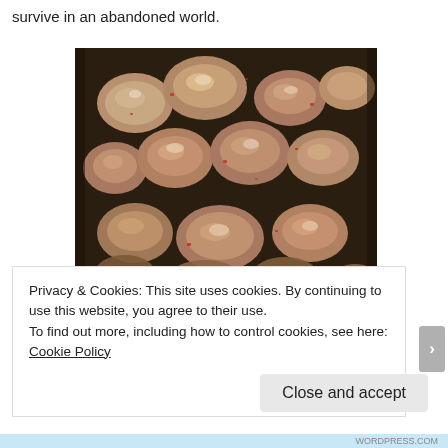survive in an abandoned world.
[Figure (photo): Close-up photo of seasoned meat pieces, appearing to be marinated or braised chunks with red pepper flakes and sauce coating them, on a dark surface.]
Privacy & Cookies: This site uses cookies. By continuing to use this website, you agree to their use.
To find out more, including how to control cookies, see here: Cookie Policy
Close and accept